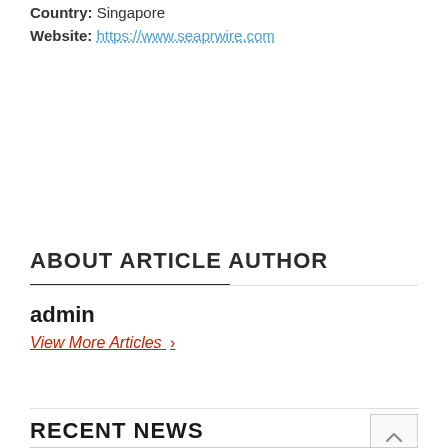Country: Singapore
Website: https://www.seaprwire.com
ABOUT ARTICLE AUTHOR
admin
View More Articles ›
RECENT NEWS